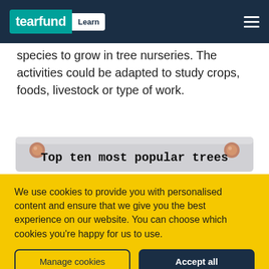tearfund Learn
species to grow in tree nurseries. The activities could be adapted to study crops, foods, livestock or type of work.
[Figure (illustration): A noticeboard-style label pinned with two orange pins on left and right, displaying the text 'Top ten most popular trees' in a handwritten/marker font.]
We use cookies to provide you with personalised content and ensure that we give you the best experience on our website. You can choose which cookies you're happy for us to use.
Manage cookies
Accept all